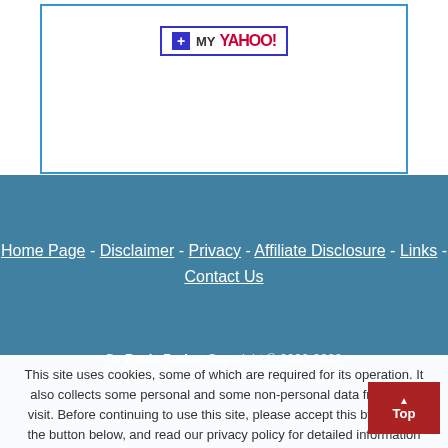[Figure (screenshot): My Yahoo! button/widget with blue border box]
Home Page - Disclaimer - Privacy - Affiliate Disclosure - Links - Contact Us
By Paula Parker Copyright © 2000-2022
This site uses cookies, some of which are required for its operation. It also collects some personal and some non-personal data from your visit. Before continuing to use this site, please accept this by clicking the button below, and read our privacy policy for detailed information about how your data is collected and what happens to it. Privacy Policy.
Accept and Continue